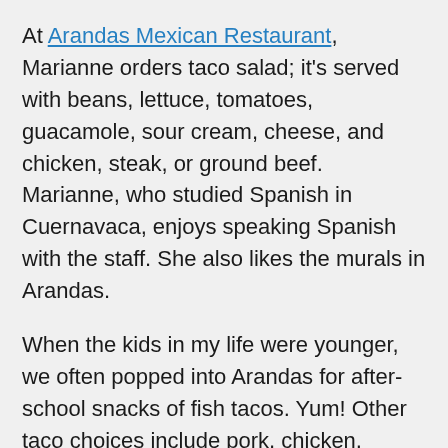At Arandas Mexican Restaurant, Marianne orders taco salad; it's served with beans, lettuce, tomatoes, guacamole, sour cream, cheese, and chicken, steak, or ground beef. Marianne, who studied Spanish in Cuernavaca, enjoys speaking Spanish with the staff. She also likes the murals in Arandas.
When the kids in my life were younger, we often popped into Arandas for after-school snacks of fish tacos. Yum! Other taco choices include pork, chicken, shrimp, steak, and ground beef. My husband and his coworkers have celebrated birthdays with lunches at Arandas. Everyone found something they enjoyed in its extensive menu. Arandas is open 11 AM to 9 PM Mondays